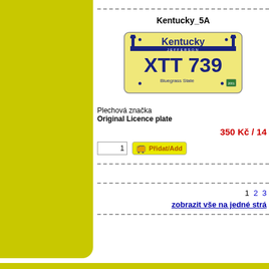Kentucky_5A
[Figure (photo): Kentucky license plate reading XTT 739, Bluegrass State, Jefferson county]
Plechová značka
Original Licence plate
350 Kč / 14
1  2  3
zobrazit vše na jedné strá